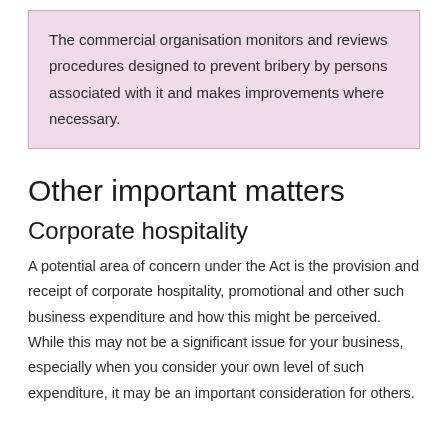The commercial organisation monitors and reviews procedures designed to prevent bribery by persons associated with it and makes improvements where necessary.
Other important matters
Corporate hospitality
A potential area of concern under the Act is the provision and receipt of corporate hospitality, promotional and other such business expenditure and how this might be perceived. While this may not be a significant issue for your business, especially when you consider your own level of such expenditure, it may be an important consideration for others.